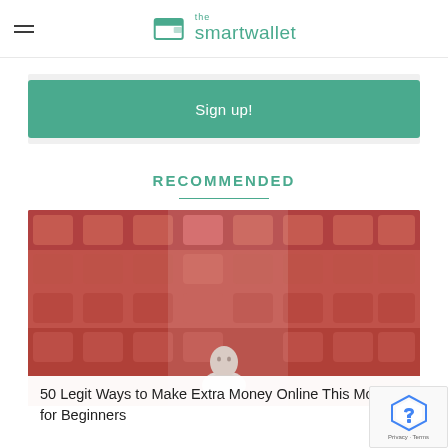the smartwallet
Sign up!
RECOMMENDED
[Figure (photo): Man sitting alone in a large theater with red seats]
50 Legit Ways to Make Extra Money Online This Month for Beginners